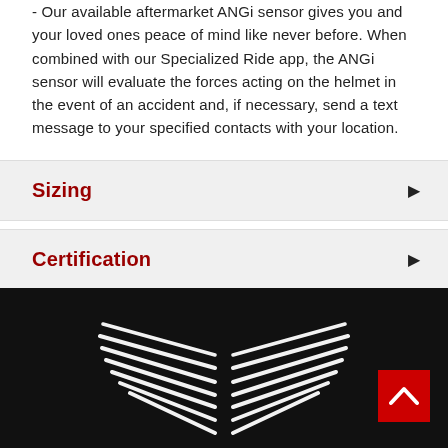- Our available aftermarket ANGi sensor gives you and your loved ones peace of mind like never before. When combined with our Specialized Ride app, the ANGi sensor will evaluate the forces acting on the helmet in the event of an accident and, if necessary, send a text message to your specified contacts with your location.
Sizing
Certification
[Figure (logo): White stylized wing/chevron logo on black background, Specialized brand logo at bottom of page]
[Figure (other): Red back-to-top button with white upward chevron arrow in bottom right corner]